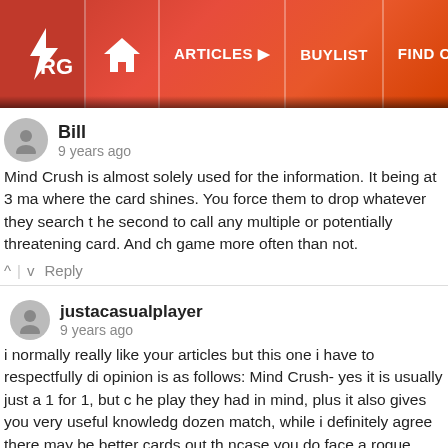[Figure (screenshot): ARG website navigation bar with logo, home icon, Articles, Buylist, Find Cards, Events menu items on red gradient background]
Bill
9 years ago
Mind Crush is almost solely used for the information. It being at 3 makes where the card shines. You force them to drop whatever they search the second to call any multiple or potentially threatening card. And ch game more often than not.
^ | v Reply
justacasualplayer
9 years ago
i normally really like your articles but this one i have to respectfully di opinion is as follows: Mind Crush- yes it is usually just a 1 for 1, but c the play they had in mind, plus it also gives you very useful knowledg dozen match, while i definitely agree there may be better cards out th ncase you do face a rogue deck and it often times cripples that matc unprepared for. Then as far as the maxx c/effect veiler goes i agree t side deck worthy. Maxx c is great against mermails and random spar veiler definately has its uses and belongs in the side as well. say yo